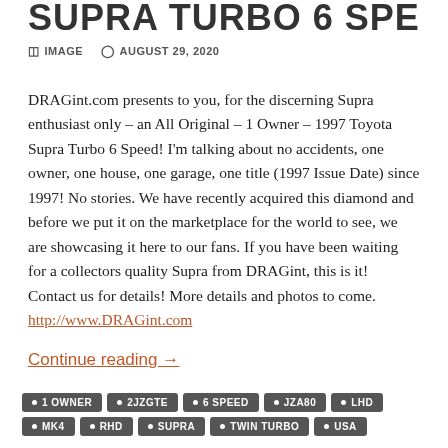SUPRA TURBO 6 SPEED:
IMAGE   AUGUST 29, 2020
DRAGint.com presents to you, for the discerning Supra enthusiast only – an All Original – 1 Owner – 1997 Toyota Supra Turbo 6 Speed! I'm talking about no accidents, one owner, one house, one garage, one title (1997 Issue Date) since 1997! No stories. We have recently acquired this diamond and before we put it on the marketplace for the world to see, we are showcasing it here to our fans. If you have been waiting for a collectors quality Supra from DRAGint, this is it! Contact us for details! More details and photos to come.
http://www.DRAGint.com
Continue reading →
1 OWNER
2JZGTE
6 SPEED
JZA80
LHD
MK4
RHD
SUPRA
TWIN TURBO
USA